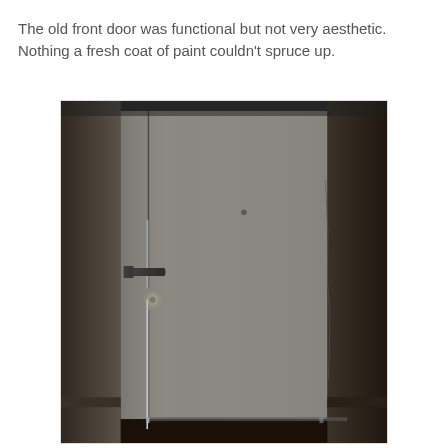The old front door was functional but not very aesthetic. Nothing a fresh coat of paint couldn't spruce up.
[Figure (photo): Indoor photo of an old front door in a dim entryway. The door is gray/beige colored, plain and flat with a door handle/lever on the left side and a deadbolt lock. The door frame shows wear and the floor is dark. Light seeps through the bottom edge of the door.]